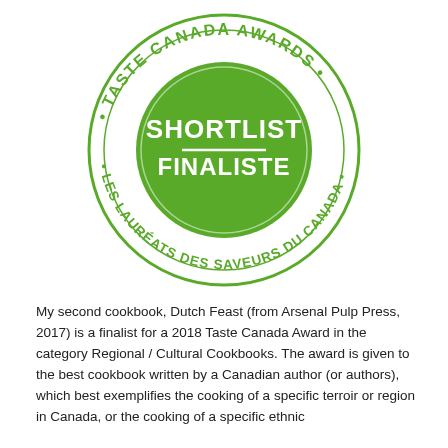[Figure (logo): Taste Canada Awards badge/seal in green. Circular badge with outer ring text reading 'TASTE CANADA AWARDS' (top, with bullet points) and 'LES LAURÉATS DES SAVEURS DU CANADA' (bottom, with bullet points). Inner green filled circle with white text 'SHORTLIST FINALISTE' separated by a horizontal line.]
My second cookbook, Dutch Feast (from Arsenal Pulp Press, 2017) is a finalist for a 2018 Taste Canada Award in the category Regional / Cultural Cookbooks. The award is given to the best cookbook written by a Canadian author (or authors), which best exemplifies the cooking of a specific terroir or region in Canada, or the cooking of a specific ethnic